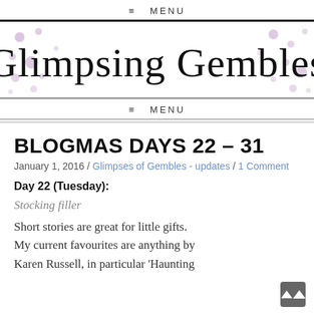≡  MENU
[Figure (logo): Glimpsing Gembles blog header banner with decorative purple dots and cursive script title]
≡  MENU
BLOGMAS DAYS 22 – 31
January 1, 2016 / Glimpses of Gembles - updates / 1 Comment
Day 22 (Tuesday):
Stocking filler
Short stories are great for little gifts. My current favourites are anything by Karen Russell, in particular 'Haunting